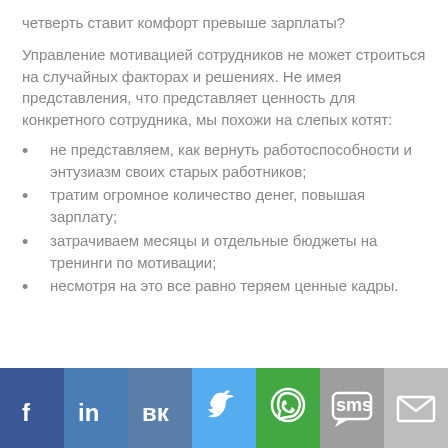четверть ставит комфорт превыше зарплаты?
Управление мотивацией сотрудников не может строиться на случайных факторах и решениях. Не имея представления, что представляет ценность для конкретного сотрудника, мы похожи на слепых котят:
не представляем, как вернуть работоспособности и энтузиазм своих старых работников;
тратим огромное количество денег, повышая зарплату;
затрачиваем месяцы и отдельные бюджеты на тренинги по мотивации;
несмотря на это все равно теряем ценные кадры.
[Figure (infographic): Social media sharing bar with icons: Facebook (dark blue), LinkedIn (blue), VK (slate blue), Twitter (light blue), WhatsApp (green), SMS (grey), Email (light grey)]